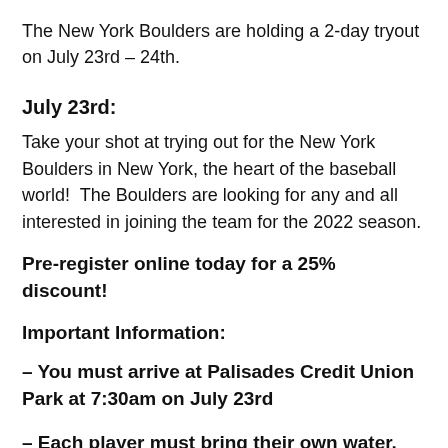The New York Boulders are holding a 2-day tryout on July 23rd – 24th.
July 23rd:
Take your shot at trying out for the New York Boulders in New York, the heart of the baseball world!  The Boulders are looking for any and all interested in joining the team for the 2022 season.
Pre-register online today for a 25% discount!
Important Information:
– You must arrive at Palisades Credit Union Park at 7:30am on July 23rd
– Each player must bring their own water. We will NOT have a water cooler available.